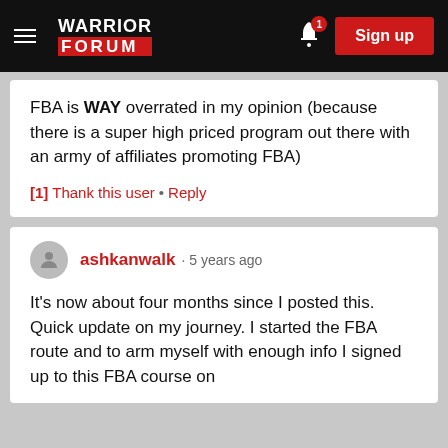Warrior Forum — Sign up
FBA is WAY overrated in my opinion (because there is a super high priced program out there with an army of affiliates promoting FBA)
[1] Thank this user • Reply
ashkanwalk · 5 years ago
It's now about four months since I posted this. Quick update on my journey. I started the FBA route and to arm myself with enough info I signed up to this FBA course on